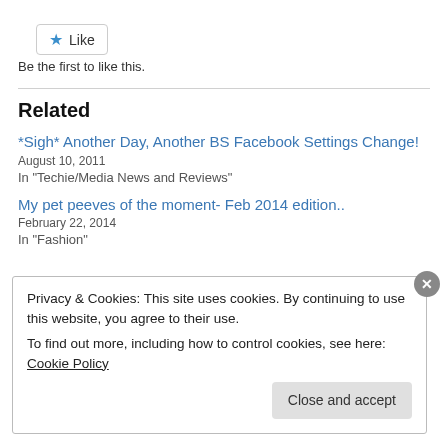Like
Be the first to like this.
Related
*Sigh* Another Day, Another BS Facebook Settings Change!
August 10, 2011
In "Techie/Media News and Reviews"
My pet peeves of the moment- Feb 2014 edition..
February 22, 2014
In "Fashion"
Privacy & Cookies: This site uses cookies. By continuing to use this website, you agree to their use.
To find out more, including how to control cookies, see here: Cookie Policy
Close and accept